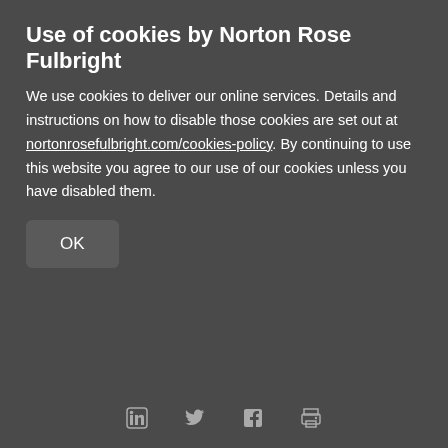Use of cookies by Norton Rose Fulbright
We use cookies to deliver our online services. Details and instructions on how to disable those cookies are set out at nortonrosefulbright.com/cookies-policy. By continuing to use this website you agree to our use of our cookies unless you have disabled them.
OK
[Figure (photo): Olive branches with green olives close-up photograph with text overlay 'What's next for the food sector in Italy' and a red play button]
LinkedIn Twitter Facebook Print icons